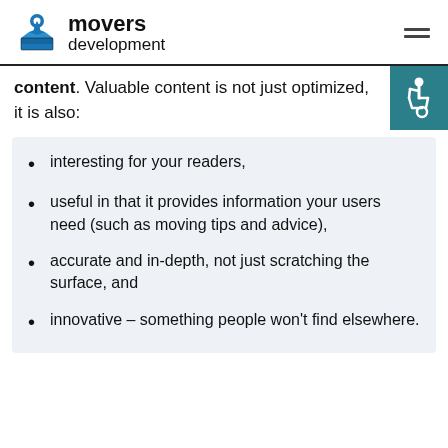[Figure (logo): Movers Development logo with location pin icon above a moving box, and text 'movers development']
content. Valuable content is not just optimized, it is also:
interesting for your readers,
useful in that it provides information your users need (such as moving tips and advice),
accurate and in-depth, not just scratching the surface, and
innovative – something people won't find elsewhere.